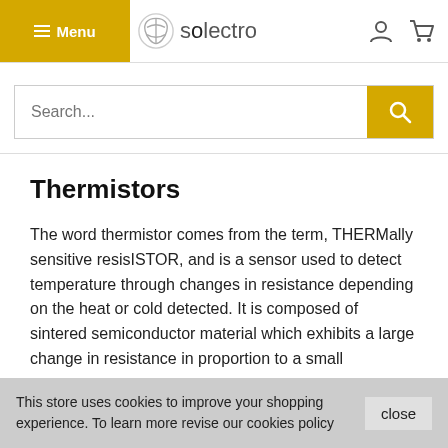Menu | solectro
[Figure (screenshot): Search bar with yellow search button]
Thermistors
The word thermistor comes from the term, THERMally sensitive resisISTOR, and is a sensor used to detect temperature through changes in resistance depending on the heat or cold detected. It is composed of sintered semiconductor material which exhibits a large change in resistance in proportion to a small
This store uses cookies to improve your shopping experience. To learn more revise our cookies policy